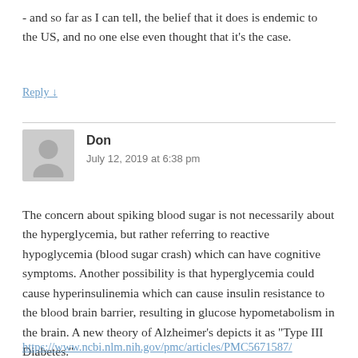- and so far as I can tell, the belief that it does is endemic to the US, and no one else even thought that it's the case.
Reply ↓
Don
July 12, 2019 at 6:38 pm
The concern about spiking blood sugar is not necessarily about the hyperglycemia, but rather referring to reactive hypoglycemia (blood sugar crash) which can have cognitive symptoms. Another possibility is that hyperglycemia could cause hyperinsulinemia which can cause insulin resistance to the blood brain barrier, resulting in glucose hypometabolism in the brain. A new theory of Alzheimer's depicts it as "Type III Diabetes."
https://www.ncbi.nlm.nih.gov/pmc/articles/PMC5671587/